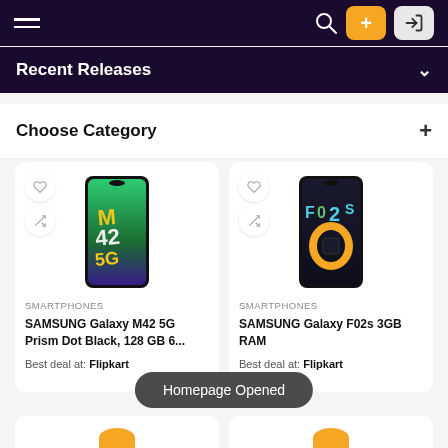Navigation bar with hamburger menu, search icon, + button, and login button
Recent Releases
Choose Category +
[Figure (screenshot): SAMSUNG Galaxy M42 5G Prism Dot Black phone product card with heart and compare icons. Category: SMARTPHONES. Name: SAMSUNG Galaxy M42 5G Prism Dot Black, 128 GB 6... Best deal at: Flipkart]
[Figure (screenshot): SAMSUNG Galaxy F02s 3GB RAM phone product card with heart and compare icons. Category: SMARTPHONES. Name: SAMSUNG Galaxy F02s 3GB RAM. Best deal at: Flipkart]
Homepage Opened